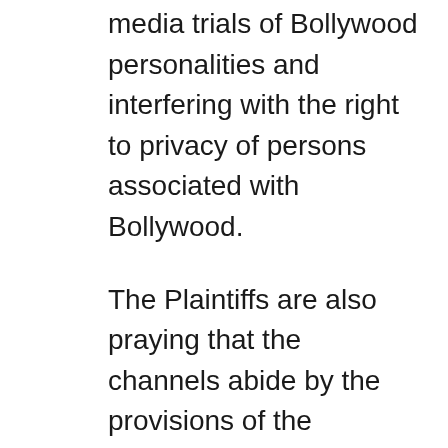media trials of Bollywood personalities and interfering with the right to privacy of persons associated with Bollywood.
The Plaintiffs are also praying that the channels abide by the provisions of the Programme Code under the Cable Television Networks Rules, 1994, and withdraw, recall and take down all the defamatory content published by them against Bollywood.
The suit comes in the wake of the channels using highly derogatory words and expressions for Bollywood such as “dirt”, “filth”, “scum”, “druggies” and expressions such as “it is Bollywood where the dirt needs to be cleaned”, “all the perfumes of Arabia cannot take away the stench and the stink of this filth and scum of the underbelly of Bollywood”, “This is the dirtiest industry in the